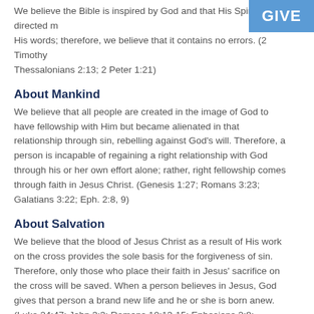We believe the Bible is inspired by God and that His Spirit directed m... His words; therefore, we believe that it contains no errors. (2 Timothy... Thessalonians 2:13; 2 Peter 1:21)
[Figure (other): Blue GIVE button/badge in top right corner]
About Mankind
We believe that all people are created in the image of God to have fellowship with Him but became alienated in that relationship through sin, rebelling against God’s will. Therefore, a person is incapable of regaining a right relationship with God through his or her own effort alone; rather, right fellowship comes through faith in Jesus Christ. (Genesis 1:27; Romans 3:23; Galatians 3:22; Eph. 2:8, 9)
About Salvation
We believe that the blood of Jesus Christ as a result of His work on the cross provides the sole basis for the forgiveness of sin. Therefore, only those who place their faith in Jesus’ sacrifice on the cross will be saved. When a person believes in Jesus, God gives that person a brand new life and he or she is born anew. (Luke 24:47; John 3:3; Romans 10:13-15; Ephesians 2:8; Galatians 4:6)
About the Christian Life
We believe that all Christians should live for Christ and not for themselves. By